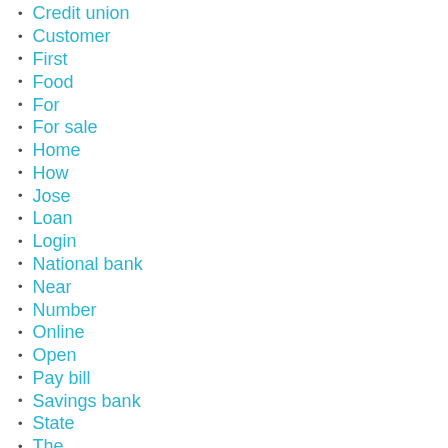Credit union
Customer
First
Food
For
For sale
Home
How
Jose
Loan
Login
National bank
Near
Number
Online
Open
Pay bill
Savings bank
State
The
What
With